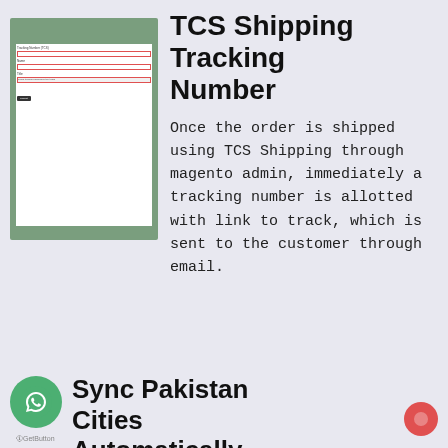[Figure (screenshot): Screenshot of a TCS Shipping admin form with red-bordered input fields on a green background]
TCS Shipping Tracking Number
Once the order is shipped using TCS Shipping through magento admin, immediately a tracking number is allotted with link to track, which is sent to the customer through email.
Sync Pakistan Cities Automatically